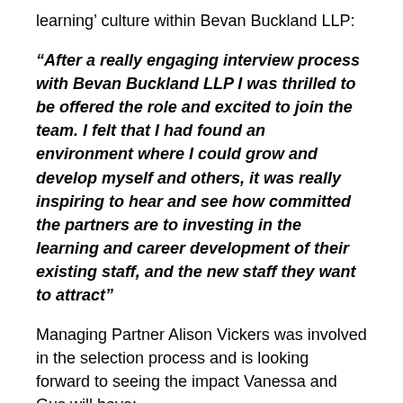learning' culture within Bevan Buckland LLP:
“After a really engaging interview process with Bevan Buckland LLP I was thrilled to be offered the role and excited to join the team. I felt that I had found an environment where I could grow and develop myself and others, it was really inspiring to hear and see how committed the partners are to investing in the learning and career development of their existing staff, and the new staff they want to attract”
Managing Partner Alison Vickers was involved in the selection process and is looking forward to seeing the impact Vanessa and Gus will have: